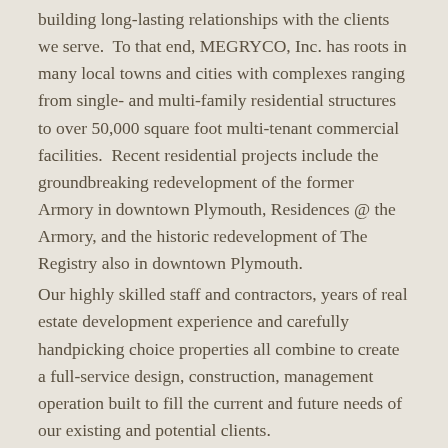building long-lasting relationships with the clients we serve.  To that end, MEGRYCO, Inc. has roots in many local towns and cities with complexes ranging from single- and multi-family residential structures to over 50,000 square foot multi-tenant commercial facilities.  Recent residential projects include the groundbreaking redevelopment of the former Armory in downtown Plymouth, Residences @ the Armory, and the historic redevelopment of The Registry also in downtown Plymouth.
Our highly skilled staff and contractors, years of real estate development experience and carefully handpicking choice properties all combine to create a full-service design, construction, management operation built to fill the current and future needs of our existing and potential clients.
Principles
Rick Vayo – Rick has over three decades of experience in